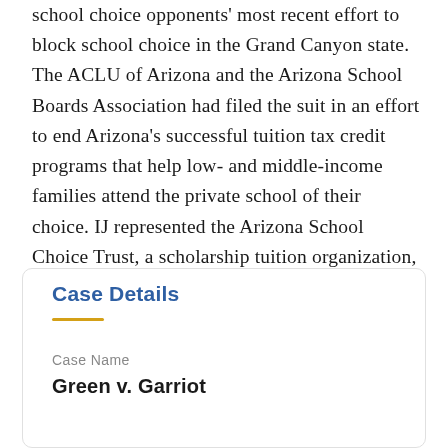school choice opponents' most recent effort to block school choice in the Grand Canyon state. The ACLU of Arizona and the Arizona School Boards Association had filed the suit in an effort to end Arizona's successful tuition tax credit programs that help low- and middle-income families attend the private school of their choice. IJ represented the Arizona School Choice Trust, a scholarship tuition organization, and several parents to ensure that Arizona schoolchildren will continue to enjoy equal educational opportunity.
Case Details
Case Name
Green v. Garriot